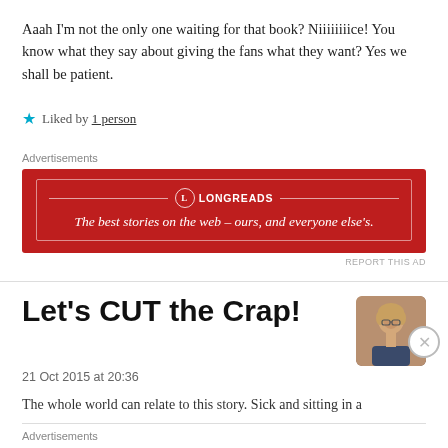Aaah I'm not the only one waiting for that book? Niiiiiiiice! You know what they say about giving the fans what they want? Yes we shall be patient.
★ Liked by 1 person
[Figure (screenshot): Longreads advertisement banner: red background with white border, Longreads logo and tagline 'The best stories on the web – ours, and everyone else's.']
Let's CUT the Crap!
21 Oct 2015 at 20:36
The whole world can relate to this story. Sick and sitting in a
[Figure (screenshot): P2 advertisement: 'Getting your team on the same page is easy. And free.']